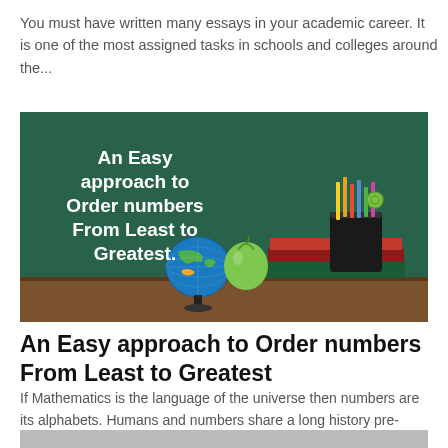You must have written many essays in your academic career. It is one of the most assigned tasks in schools and colleges around the...
[Figure (photo): Chalkboard with text 'An Easy approach to Order numbers From Least to Greatest.' with classroom objects including a globe, green apple, books, pencils and scissors on a desk in front of a green chalkboard.]
An Easy approach to Order numbers From Least to Greatest
If Mathematics is the language of the universe then numbers are its alphabets. Humans and numbers share a long history pre-dating some unknown times...
[Figure (photo): Partial image of another article at the bottom of the page.]